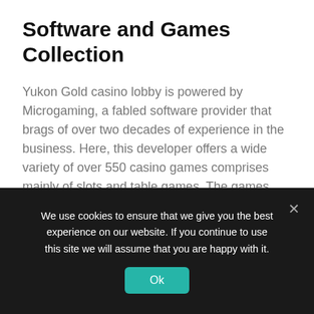Software and Games Collection
Yukon Gold casino lobby is powered by Microgaming, a fabled software provider that brags of over two decades of experience in the business. Here, this developer offers a wide variety of over 550 casino games comprises mainly of slots and table games. The games come with smoothly rendering graphics engines for and high-quality visuals and equally attractive sound effects. Some of the game varieties provided by Yukon Gold Casino thanks to Microgaming include:
We use cookies to ensure that we give you the best experience on our website. If you continue to use this site we will assume that you are happy with it.
Ok